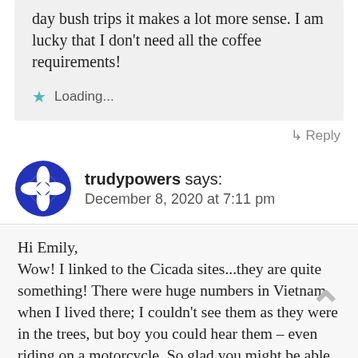day bush trips it makes a lot more sense. I am lucky that I don't need all the coffee requirements!
Loading...
Reply
trudypowers says: December 8, 2020 at 7:11 pm
Hi Emily,
Wow! I linked to the Cicada sites...they are quite something! There were huge numbers in Vietnam when I lived there; I couldn't see them as they were in the trees, but boy you could hear them – even riding on a motorcycle. So glad you might be able to cut-back